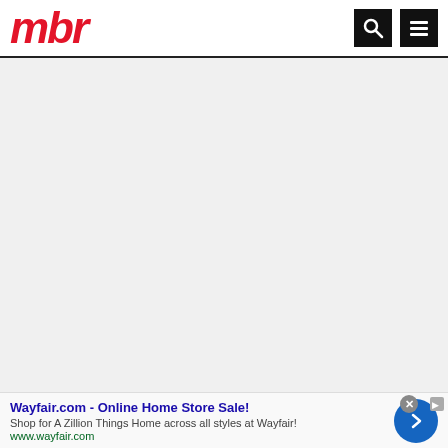mbr
[Figure (other): Large light gray empty content area below the MBR site header]
Wayfair.com - Online Home Store Sale! Shop for A Zillion Things Home across all styles at Wayfair! www.wayfair.com